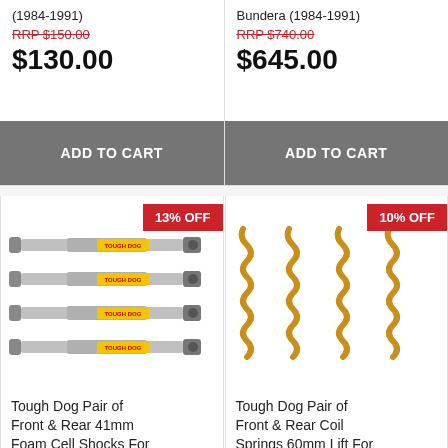(1984-1991)
RRP $150.00
$130.00
ADD TO CART
Bundera (1984-1991)
RRP $740.00
$645.00
ADD TO CART
13% OFF
[Figure (photo): Four Tough Dog 41mm foam cell shock absorbers stacked horizontally]
Tough Dog Pair of Front & Rear 41mm Foam Cell Shocks For
10% OFF
[Figure (photo): Four gold-colored coil springs arranged in two rows]
Tough Dog Pair of Front & Rear Coil Springs 60mm Lift For